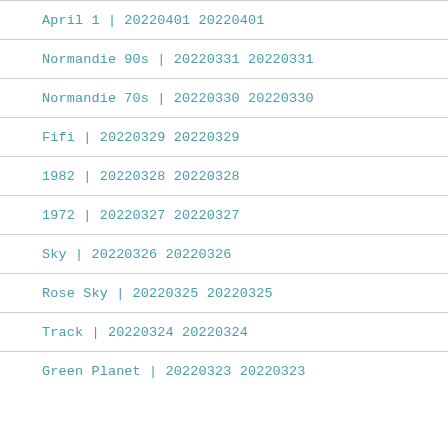April 1 | 20220401 20220401
Normandie 90s | 20220331 20220331
Normandie 70s | 20220330 20220330
Fifi | 20220329 20220329
1982 | 20220328 20220328
1972 | 20220327 20220327
Sky | 20220326 20220326
Rose Sky | 20220325 20220325
Track | 20220324 20220324
Green Planet | 20220323 20220323